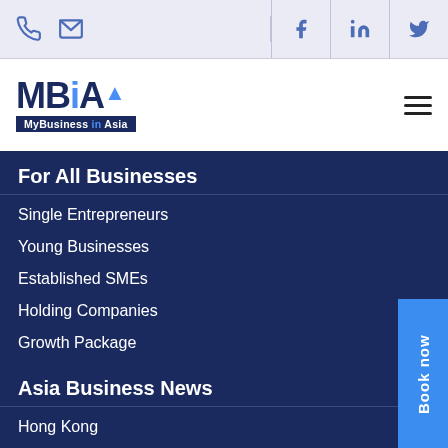MBiA MyBusiness in Asia — navigation header with phone, email, facebook, linkedin, twitter icons
[Figure (logo): MBiA MyBusiness in Asia logo]
For All Businesses
Single Entrepreneurs
Young Businesses
Established SMEs
Holding Companies
Growth Package
Asia Business News
Hong Kong
Singapore